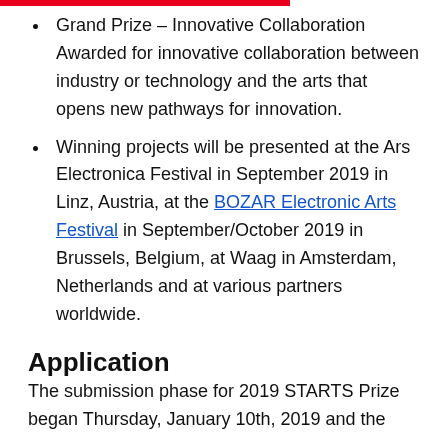Grand Prize – Innovative Collaboration Awarded for innovative collaboration between industry or technology and the arts that opens new pathways for innovation.
Winning projects will be presented at the Ars Electronica Festival in September 2019 in Linz, Austria, at the BOZAR Electronic Arts Festival in September/October 2019 in Brussels, Belgium, at Waag in Amsterdam, Netherlands and at various partners worldwide.
Application
The submission phase for 2019 STARTS Prize began Thursday, January 10th, 2019 and the